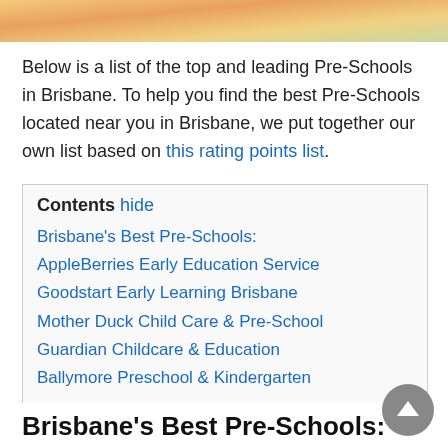[Figure (photo): Top banner image showing colorful background with children-related imagery]
Below is a list of the top and leading Pre-Schools in Brisbane. To help you find the best Pre-Schools located near you in Brisbane, we put together our own list based on this rating points list.
Contents hide
Brisbane's Best Pre-Schools:
AppleBerries Early Education Service
Goodstart Early Learning Brisbane
Mother Duck Child Care & Pre-School
Guardian Childcare & Education
Ballymore Preschool & Kindergarten
Brisbane's Best Pre-Schools: